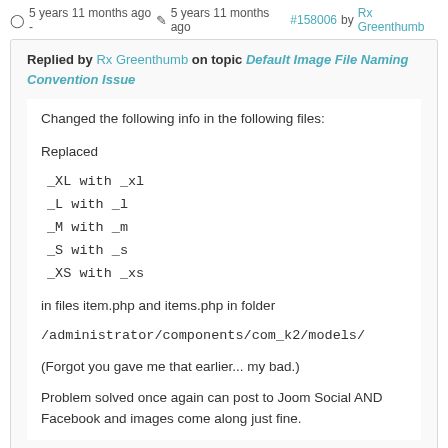5 years 11 months ago - 5 years 11 months ago #158006 by Rx Greenthumb
Replied by Rx Greenthumb on topic Default Image File Naming Convention Issue
Changed the following info in the following files:
Replaced
_XL with _xl
_L with _l
_M with _m
_S with _s
_XS with _xs
in files item.php and items.php in folder
/administrator/components/com_k2/models/
(Forgot you gave me that earlier... my bad.)
Problem solved once again can post to Joom Social AND Facebook and images come along just fine.